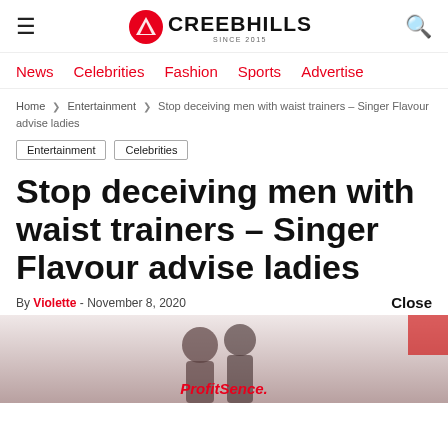CREEBHILLS
News   Celebrities   Fashion   Sports   Advertise
Home > Entertainment > Stop deceiving men with waist trainers – Singer Flavour advise ladies
Entertainment   Celebrities
Stop deceiving men with waist trainers – Singer Flavour advise ladies
By Violette - November 8, 2020
[Figure (photo): Partial photo of people with ad label ProfitSence at bottom]